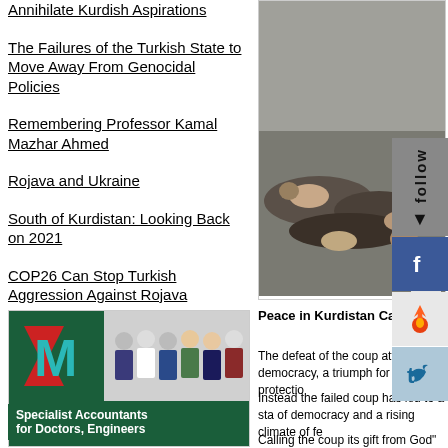Annihilate Kurdish Aspirations
The Failures of the Turkish State to Move Away From Genocidal Policies
Remembering Professor Kamal Mazhar Ahmed
Rojava and Ukraine
South of Kurdistan: Looking Back on 2021
COP26 Can Stop Turkish Aggression Against Rojava
[Figure (photo): Photo showing people lying on ground, appears to be conflict-related image]
Solo
[Figure (logo): Morgan Menzies Limited logo with M letter and medical/professional staff]
Specialist Accountants for Doctors, Engineers
Peace in Kurdistan Campaign
The defeat of the coup attempt democracy, a triumph for the protection
Instead the failed coup has led to a sta of democracy and a rising climate of fe
Calling the coup its gift from God" P